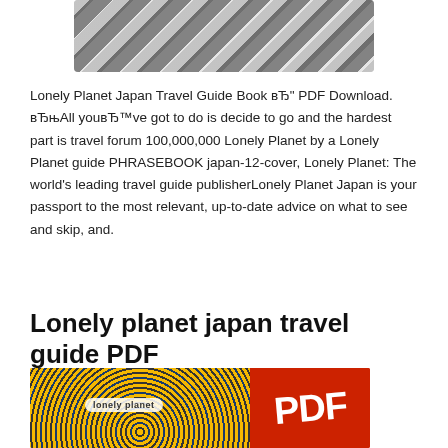[Figure (photo): Top portion of a book cover showing a zebra crossing (crosswalk) with black and white stripes, partially cropped]
Lonely Planet Japan Travel Guide Book вЂ" PDF Download. вЂњAll youвЂ™ve got to do is decide to go and the hardest part is travel forum 100,000,000 Lonely Planet by a Lonely Planet guide PHRASEBOOK japan-12-cover, Lonely Planet: The world's leading travel guide publisherLonely Planet Japan is your passport to the most relevant, up-to-date advice on what to see and skip, and.
Lonely planet japan travel guide PDF
[Figure (photo): Lonely Planet Japan travel guide book cover showing yellow coiled ropes/tubes on the left and a red PDF badge on the right with 'lonely planet' logo text]